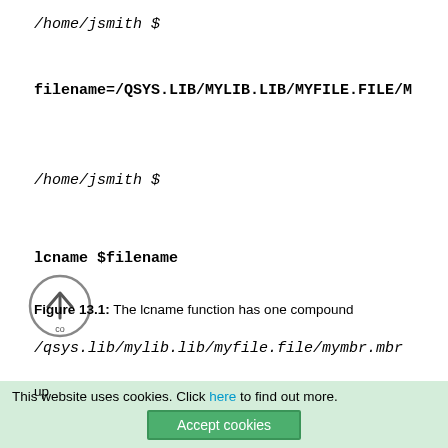/home/jsmith $
filename=/QSYS.LIB/MYLIB.LIB/MYFILE.FILE/M
/home/jsmith $
lcname $filename
/qsys.lib/mylib.lib/myfile.file/mymbr.mbr
Figure 13.1: The lcname function has one compound co... up...